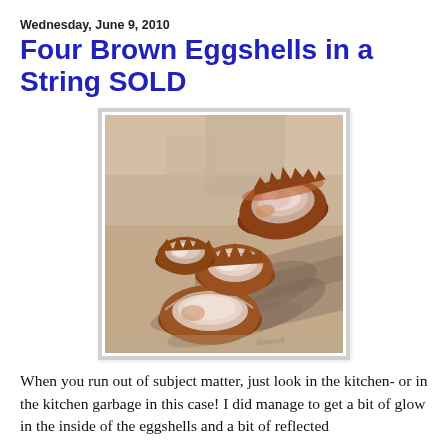Wednesday, June 9, 2010
Four Brown Eggshells in a String SOLD
[Figure (photo): Oil painting of four broken brown eggshells arranged in a diagonal line on a neutral surface with shadows, artist signature visible in lower right corner.]
When you run out of subject matter, just look in the kitchen- or in the kitchen garbage in this case!  I did manage to get a bit of glow in the inside of the eggshells and a bit of reflected